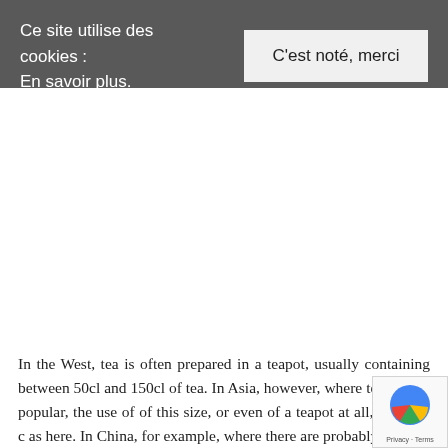Ce site utilise des cookies :
En savoir plus.
C'est noté, merci
In the West, tea is often prepared in a teapot, usually containing between 50cl and 150cl of tea. In Asia, however, where tea is very popular, the use of of this size, or even of a teapot at all, is not as c as here. In China, for example, where there are probably